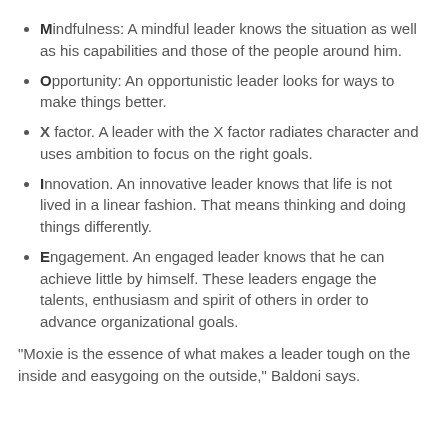Mindfulness: A mindful leader knows the situation as well as his capabilities and those of the people around him.
Opportunity: An opportunistic leader looks for ways to make things better.
X factor. A leader with the X factor radiates character and uses ambition to focus on the right goals.
Innovation. An innovative leader knows that life is not lived in a linear fashion. That means thinking and doing things differently.
Engagement. An engaged leader knows that he can achieve little by himself. These leaders engage the talents, enthusiasm and spirit of others in order to advance organizational goals.
"Moxie is the essence of what makes a leader tough on the inside and easygoing on the outside," Baldoni says.